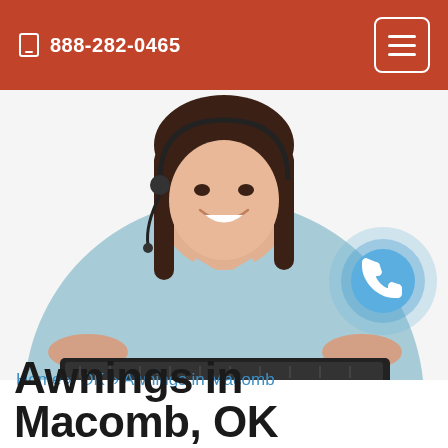📱 888-282-0465
[Figure (photo): Woman in light blue shirt wearing a headset, smiling and typing on a keyboard. Customer service representative photo on white background.]
Home » OK » Awnings in Macomb
Awnings in Macomb, OK